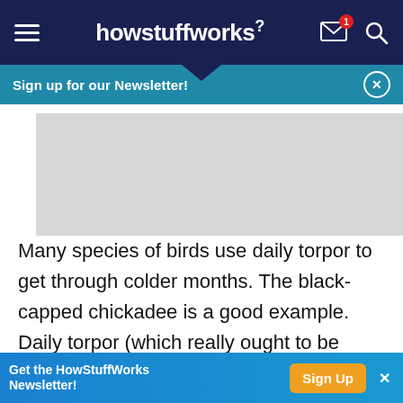howstuffworks
Sign up for our Newsletter!
[Figure (other): Gray placeholder advertisement image]
Many species of birds use daily torpor to get through colder months. The black-capped chickadee is a good example. Daily torpor (which really ought to be called nightly torpor) is like low-grade short-term hibernation. It only lasts for a few hours, and the
Get the HowStuffWorks Newsletter! Sign Up